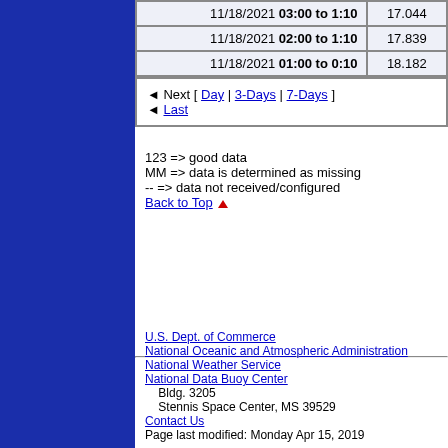| Date/Time | Value |
| --- | --- |
| 11/18/2021 03:00 to 1:10 | 17.044 |
| 11/18/2021 02:00 to 1:10 | 17.839 |
| 11/18/2021 01:00 to 0:10 | 18.182 |
◄ Next [ Day | 3-Days | 7-Days ]
◄ Last
123 => good data
MM => data is determined as missing
-- => data not received/configured
Back to Top ▲
U.S. Dept. of Commerce
National Oceanic and Atmospheric Administration
National Weather Service
National Data Buoy Center
    Bldg. 3205
    Stennis Space Center, MS 39529
Contact Us
Page last modified: Monday Apr 15, 2019